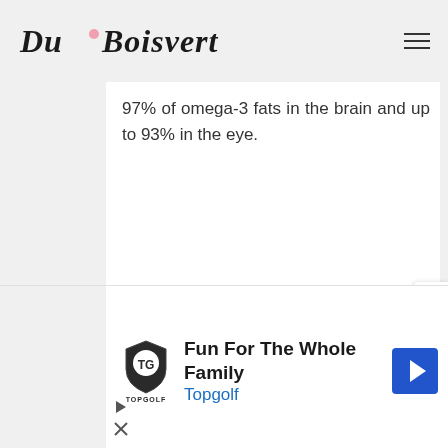Du Boisvert
97% of omega-3 fats in the brain and up to 93% in the eye.
[Figure (other): Advertisement banner: Fun For The Whole Family - Topgolf, with Topgolf shield logo and blue navigation arrow icon]